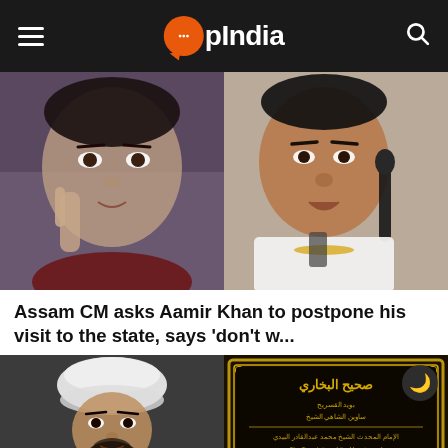OpIndia
[Figure (photo): Two photos side by side: left shows Aamir Khan pointing finger near his face, right shows Himanta Biswa Sarma speaking at a microphone wearing white shirt]
Assam CM asks Aamir Khan to postpone his visit to the state, says 'don't w...
[Figure (photo): Two photos side by side: left shows a Muslim cleric in white turban pointing finger, right shows a book cover of Sahih Al-Bukhari with Arabic script and gold ornate border]